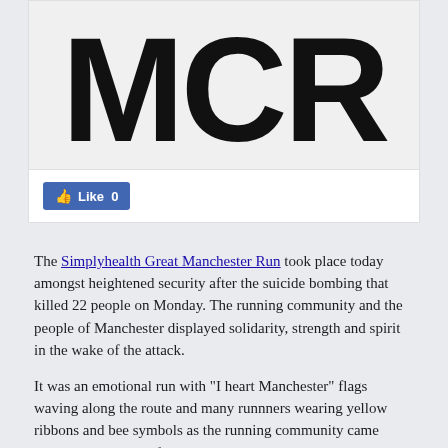[Figure (logo): Large bold block letters MCR on a light grey/white background, representing Manchester]
[Figure (screenshot): Facebook Like button showing thumbs up icon and Like 0 count in blue rounded rectangle]
The Simplyhealth Great Manchester Run took place today amongst heightened security after the suicide bombing that killed 22 people on Monday. The running community and the people of Manchester displayed solidarity, strength and spirit in the wake of the attack.
It was an emotional run with "I heart Manchester" flags waving along the route and many runnners wearing yellow ribbons and bee symbols as the running community came together in a show of solidarity.
Tirunesh Dibaba dedicated her fourth victory to the people of the city. The triple Olympic champion and five-time world champion, was the favourite ahead of the 10km and was not troubled as she cruised home more than two minutes ahead of second-placed Christelle Daunay.
In the men's race, it was an American 1-2 as Dathan Ritzenhein claimed